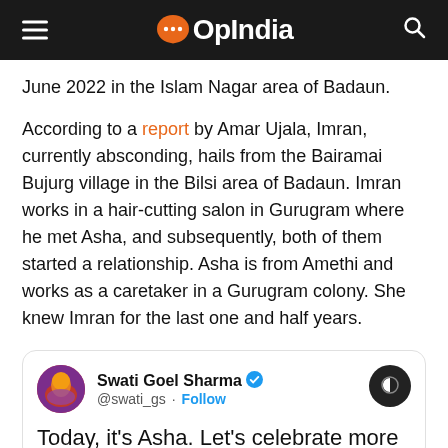OpIndia
June 2022 in the Islam Nagar area of Badaun.
According to a report by Amar Ujala, Imran, currently absconding, hails from the Bairamai Bujurg village in the Bilsi area of Badaun. Imran works in a hair-cutting salon in Gurugram where he met Asha, and subsequently, both of them started a relationship. Asha is from Amethi and works as a caretaker in a Gurugram colony. She knew Imran for the last one and half years.
[Figure (screenshot): Embedded tweet from @swati_gs (Swati Goel Sharma, verified) with Follow button and beginning of tweet text: Today, it's Asha. Let's celebrate more]
Today, it's Asha. Let's celebrate more